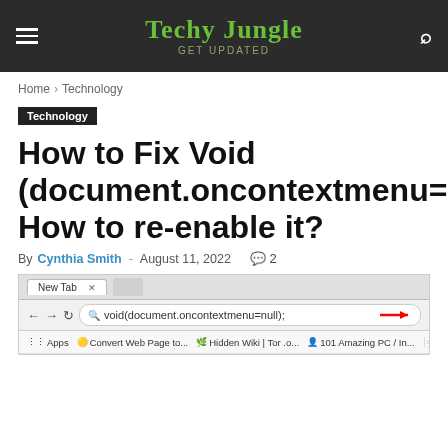Techy Jungle — Get Updated
Home › Technology
Technology
How to Fix Void (document.oncontextmenu=null); How to re-enable it?
By Cynthia Smith - August 11, 2022  💬 2
[Figure (screenshot): Browser screenshot showing Chrome address bar with 'void(document.oncontextmenu=null);' typed in, with a red arrow pointing to it. Bookmarks bar visible below.]